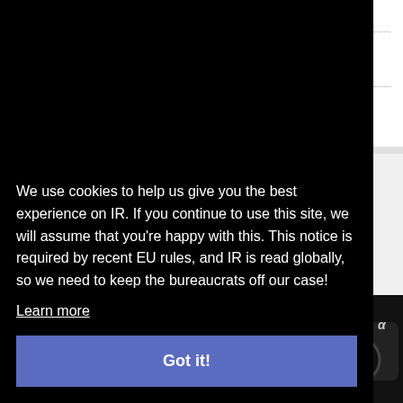$599 / APS-C
$499 / APS-C
BUILT-IN WI-FI
LESS EXPENSIVE
HIGHER-RES SCREEN
IN-CAMERA PANORAMAS
We use cookies to help us give you the best experience on IR. If you continue to use this site, we will assume that you're happy with this. This notice is required by recent EU rules, and IR is read globally, so we need to keep the bureaucrats off our case!
Learn more
Got it!
$899 / nikon
$199 / APS-C